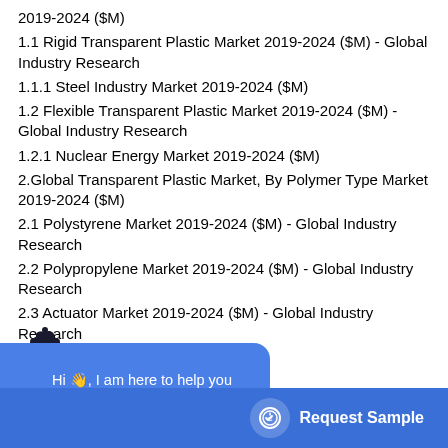2019-2024 ($M)
1.1 Rigid Transparent Plastic Market 2019-2024 ($M) - Global Industry Research
1.1.1 Steel Industry Market 2019-2024 ($M)
1.2 Flexible Transparent Plastic Market 2019-2024 ($M) - Global Industry Research
1.2.1 Nuclear Energy Market 2019-2024 ($M)
2.Global Transparent Plastic Market, By Polymer Type Market 2019-2024 ($M)
2.1 Polystyrene Market 2019-2024 ($M) - Global Industry Research
2.2 Polypropylene Market 2019-2024 ($M) - Global Industry Research
2.3 Actuator Market 2019-2024 ($M) - Global Industry Research
2019-2024 ($M) - Global